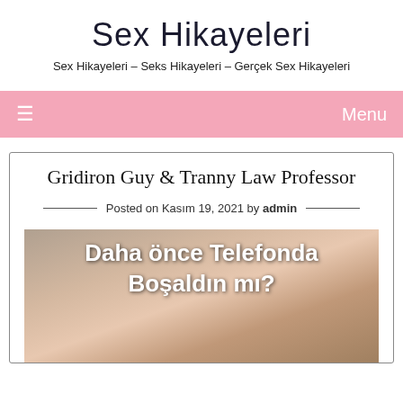Sex Hikayeleri
Sex Hikayeleri – Seks Hikayeleri – Gerçek Sex Hikayeleri
≡   Menu
Gridiron Guy & Tranny Law Professor
Posted on Kasım 19, 2021 by admin
[Figure (photo): Photo with Turkish text overlay reading 'Daha önce Telefonda Boşaldın mı?']